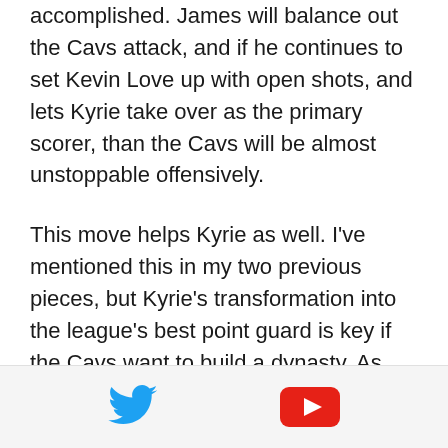accomplished. James will balance out the Cavs attack, and if he continues to set Kevin Love up with open shots, and lets Kyrie take over as the primary scorer, than the Cavs will be almost unstoppable offensively.
This move helps Kyrie as well. I've mentioned this in my two previous pieces, but Kyrie's transformation into the league's best point guard is key if the Cavs want to build a dynasty. As LeBron gets older, more and more of the offensive load will have to be put on Irving's shoulders. Kyrie has proven that he is one of the league's best scorers, but hasn't
[Figure (other): Footer bar with Twitter bird icon (blue) and YouTube play button icon (red/orange)]